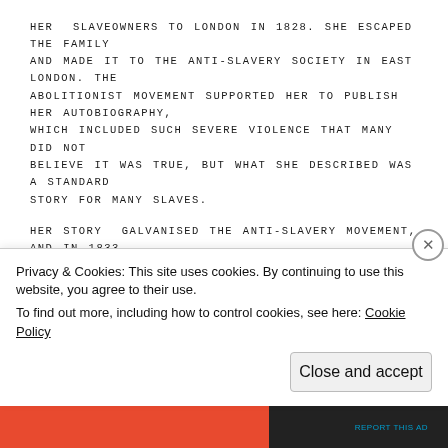HER SLAVEOWNERS TO LONDON IN 1828. SHE ESCAPED THE FAMILY AND MADE IT TO THE ANTI-SLAVERY SOCIETY IN EAST LONDON. THE ABOLITIONIST MOVEMENT SUPPORTED HER TO PUBLISH HER AUTOBIOGRAPHY, WHICH INCLUDED SUCH SEVERE VIOLENCE THAT MANY DID NOT BELIEVE IT WAS TRUE, BUT WHAT SHE DESCRIBED WAS A STANDARD STORY FOR MANY SLAVES.
HER STORY GALVANISED THE ANTI-SLAVERY MOVEMENT, AND IN 1833, THE YEAR PRINCE TESTIFIED IN LIBEL CASE PROMPTED BY HER BOOK, THE SLAVERY ABOLITION ACT WAS PASSED, ABOLISHING SLAVERY IN MOST BRITISH COLONIES. BERMUDA WAS FREE BY 1834: IT'S NOT CERTAIN, BUT IF SHE WAS IN GOOD HEALTH, PRINCE MAY HAVE RETURNED HOME AS A FREE WOMAN.
Privacy & Cookies: This site uses cookies. By continuing to use this website, you agree to their use.
To find out more, including how to control cookies, see here: Cookie Policy
Close and accept